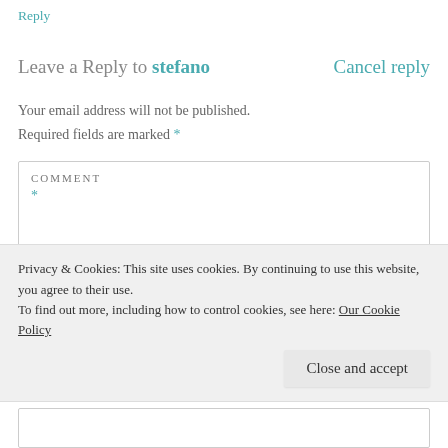Reply
Leave a Reply to stefano    Cancel reply
Your email address will not be published. Required fields are marked *
COMMENT *
Privacy & Cookies: This site uses cookies. By continuing to use this website, you agree to their use. To find out more, including how to control cookies, see here: Our Cookie Policy
Close and accept